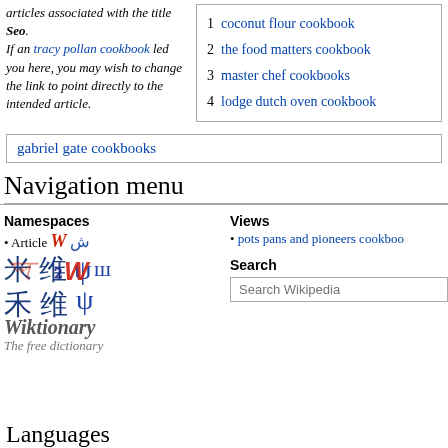articles associated with the title Seo. If an tracy pollan cookbook led you here, you may wish to change the link to point directly to the intended article.
1 coconut flour cookbook
2 the food matters cookbook
3 master chef cookbooks
4 lodge dutch oven cookbook
gabriel gate cookbooks
Navigation menu
Namespaces
Article
Views
pots pans and pioneers cookbook
Search
[Figure (logo): Wiktionary logo with multilingual characters and Wiktionary The free dictionary text]
Languages